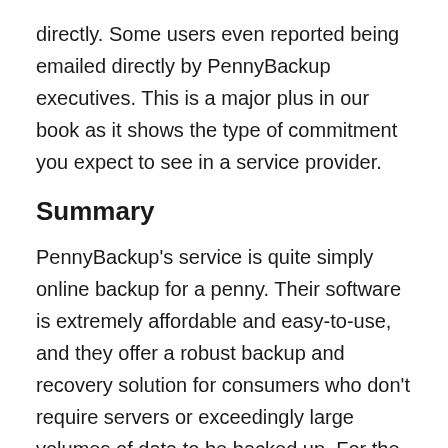directly. Some users even reported being emailed directly by PennyBackup executives. This is a major plus in our book as it shows the type of commitment you expect to see in a service provider.
Summary
PennyBackup’s service is quite simply online backup for a penny. Their software is extremely affordable and easy-to-use, and they offer a robust backup and recovery solution for consumers who don’t require servers or exceedingly large volumes of data to be backed up. For the cost of one or two cups of coffee per month, your data is safely backed up and available for quick restoration at the click of a button. Consequently and as noted previously, we recommend PennyBackup for all home and small business users.